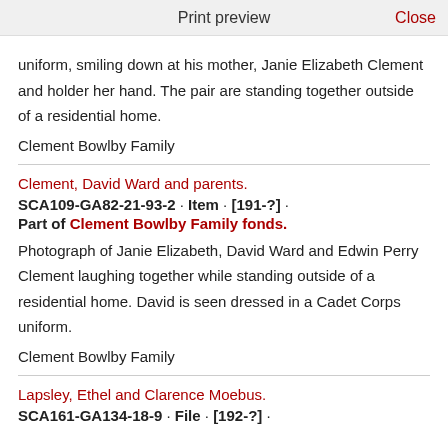Print preview   Close
uniform, smiling down at his mother, Janie Elizabeth Clement and holder her hand. The pair are standing together outside of a residential home.
Clement Bowlby Family
Clement, David Ward and parents.
SCA109-GA82-21-93-2 · Item · [191-?] ·
Part of Clement Bowlby Family fonds.
Photograph of Janie Elizabeth, David Ward and Edwin Perry Clement laughing together while standing outside of a residential home. David is seen dressed in a Cadet Corps uniform.
Clement Bowlby Family
Lapsley, Ethel and Clarence Moebus.
SCA161-GA134-18-9 · File · [192-?] ·